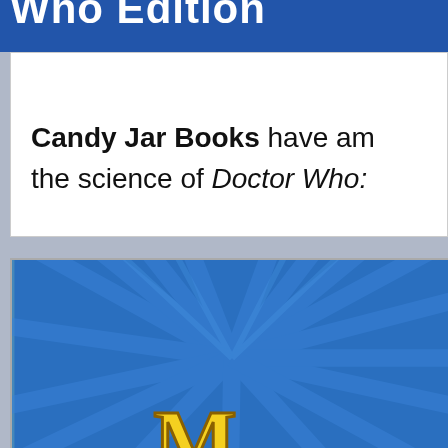Who Edition
Candy Jar Books have am the science of Doctor Who:
[Figure (photo): Book cover with blue background, decorative diagonal ray pattern, and large stylized yellow text reading 'M...' (partially visible title starting with M), resembling a Doctor Who themed book cover]